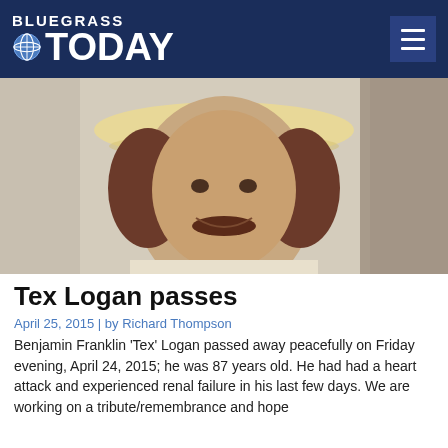BLUEGRASS TODAY
[Figure (photo): Portrait photo of Tex Logan wearing a cream-colored cowboy hat and light-colored jacket, smiling, with a mustache]
Tex Logan passes
April 25, 2015 | by Richard Thompson
Benjamin Franklin 'Tex' Logan passed away peacefully on Friday evening, April 24, 2015; he was 87 years old. He had had a heart attack and experienced renal failure in his last few days. We are working on a tribute/remembrance and hope